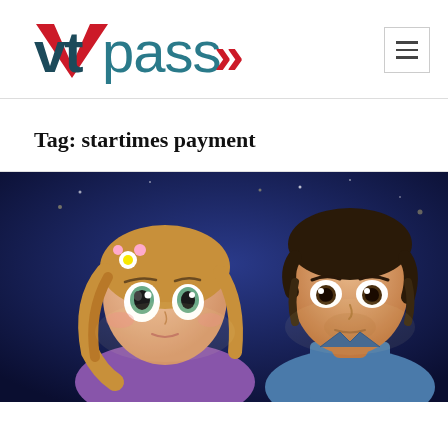[Figure (logo): VTpass logo — 'vt' in dark teal bold sans-serif with a red checkmark/V shape on the 'v', 'pass' in teal, followed by a red double-arrow chevron pointing right]
Tag: startimes payment
[Figure (photo): Screenshot from an animated movie (Tangled/Rapunzel) showing two cartoon characters — a blonde female with flowers in her hair looking upward, and a dark-haired male in a blue vest also looking upward, against a dark blue background]